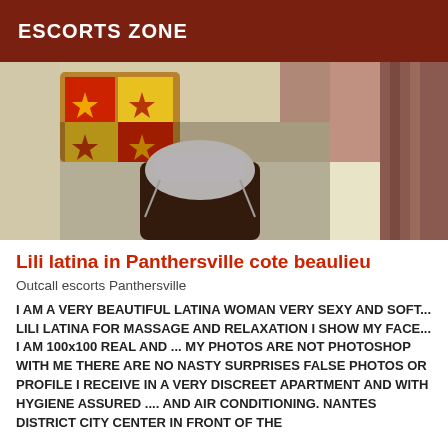ESCORTS ZONE
[Figure (photo): Photo of a person on a bed in a bedroom setting]
Lili latina in Panthersville cote beaulieu
Outcall escorts Panthersville
I AM A VERY BEAUTIFUL LATINA WOMAN VERY SEXY AND SOFT... LILI LATINA FOR MASSAGE AND RELAXATION I SHOW MY FACE... I AM 100x100 REAL AND ... MY PHOTOS ARE NOT PHOTOSHOP WITH ME THERE ARE NO NASTY SURPRISES FALSE PHOTOS OR PROFILE I RECEIVE IN A VERY DISCREET APARTMENT AND WITH HYGIENE ASSURED .... AND AIR CONDITIONING. NANTES DISTRICT CITY CENTER IN FRONT OF THE